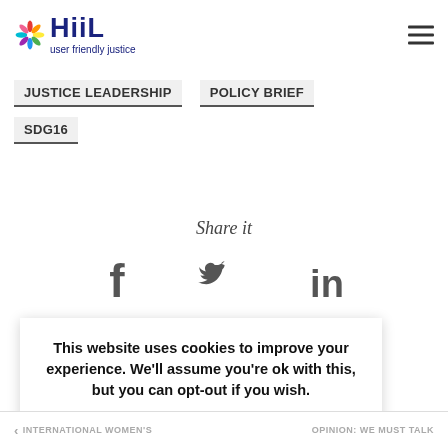[Figure (logo): HiiL logo with colorful pinwheel icon and text 'HiiL' in dark blue with tagline 'user friendly justice']
JUSTICE LEADERSHIP
POLICY BRIEF
SDG16
Share it
[Figure (other): Social sharing icons: Facebook (f), Twitter (bird), LinkedIn (in)]
This website uses cookies to improve your experience. We'll assume you're ok with this, but you can opt-out if you wish. Accept Read More
< INTERNATIONAL WOMEN'S
OPINION: WE MUST TALK